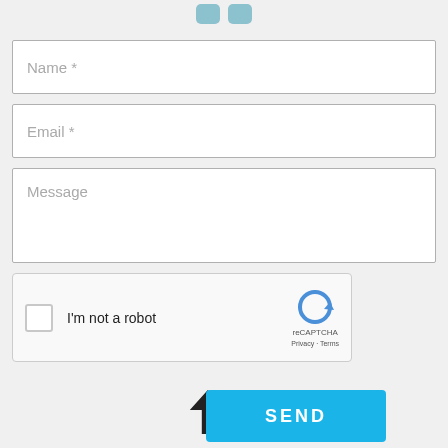[Figure (logo): Two pill/rounded rectangle shapes in teal/blue forming a logo icon at the top center of the page]
Name *
Email *
Message
[Figure (screenshot): reCAPTCHA widget with checkbox, 'I'm not a robot' label, reCAPTCHA logo, Privacy and Terms links]
SEND